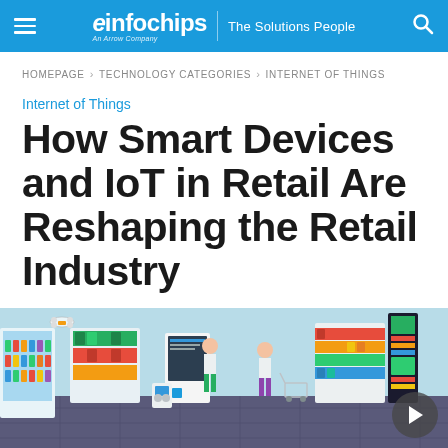eInfochips | The Solutions People
HOMEPAGE > TECHNOLOGY CATEGORIES > INTERNET OF THINGS
Internet of Things
How Smart Devices and IoT in Retail Are Reshaping the Retail Industry
[Figure (illustration): Isometric illustration of a smart retail store with IoT devices, including delivery drones, automated checkout kiosks, smart shelves with product displays, shoppers with carts, and digital signage screens. A video play button overlay is visible in the bottom right corner.]